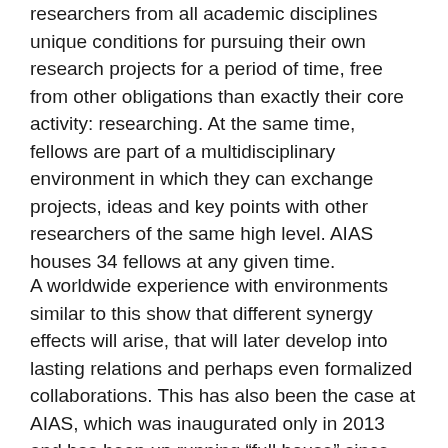researchers from all academic disciplines unique conditions for pursuing their own research projects for a period of time, free from other obligations than exactly their core activity: researching. At the same time, fellows are part of a multidisciplinary environment in which they can exchange projects, ideas and key points with other researchers of the same high level. AIAS houses 34 fellows at any given time.
A worldwide experience with environments similar to this show that different synergy effects will arise, that will later develop into lasting relations and perhaps even formalized collaborations. This has also been the case at AIAS, which was inaugurated only in 2013 and has been up running “full house” since the fall of 2014